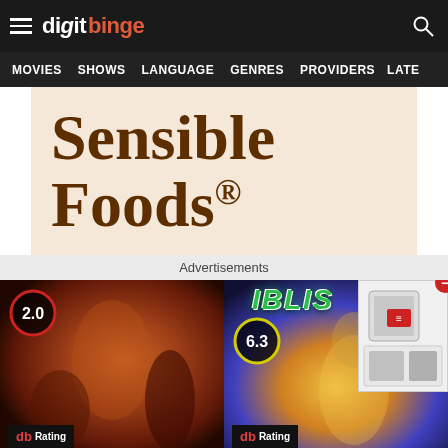digit binge
MOVIES   SHOWS   LANGUAGE   GENRES   PROVIDERS   LATE
[Figure (illustration): Sensible Foods® advertisement banner with beige/cream background and dark brown serif text]
Advertisements
[Figure (photo): Movie poster with rating badge showing 2.0 (red circle), db Rating label, dark horror-themed imagery with woman in orange light]
[Figure (photo): Movie poster for IBLIS with rating badge showing 6.3 (yellow circle), db Rating label, colorful Bollywood-style imagery with woman in traditional dress]
Ad   Accident Attorney Near Me   cybershopsale.com   Open